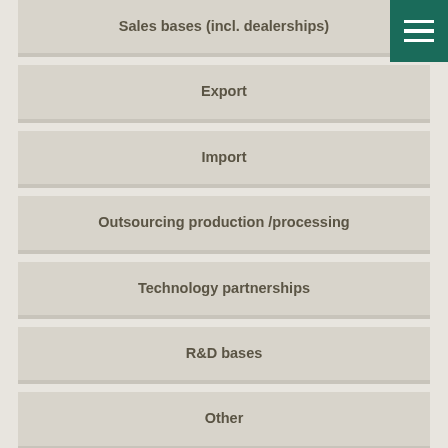Sales bases (incl. dealerships)
Export
Import
Outsourcing production /processing
Technology partnerships
R&D bases
Other